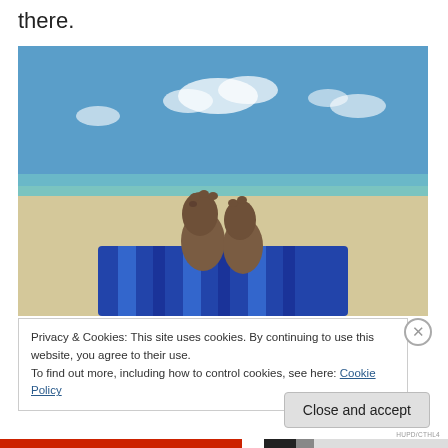there.
[Figure (photo): Person lying on a blue striped beach towel on sandy beach, feet visible in foreground, turquoise ocean and blue sky with clouds in background.]
Privacy & Cookies: This site uses cookies. By continuing to use this website, you agree to their use.
To find out more, including how to control cookies, see here: Cookie Policy
Close and accept